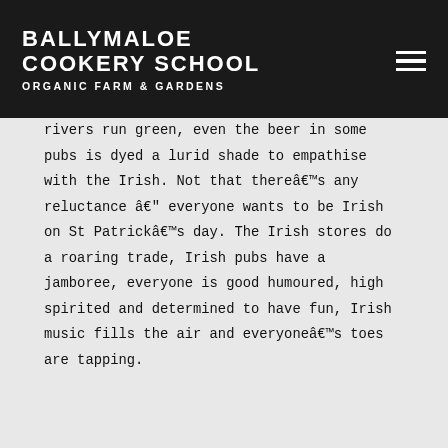BALLYMALOE COOKERY SCHOOL ORGANIC FARM & GARDENS
rivers run green, even the beer in some pubs is dyed a lurid shade to empathise with the Irish. Not that thereâs any reluctance â everyone wants to be Irish on St Patrickâs day. The Irish stores do a roaring trade, Irish pubs have a jamboree, everyone is good humoured, high spirited and determined to have fun, Irish music fills the air and everyoneâs toes are tapping.